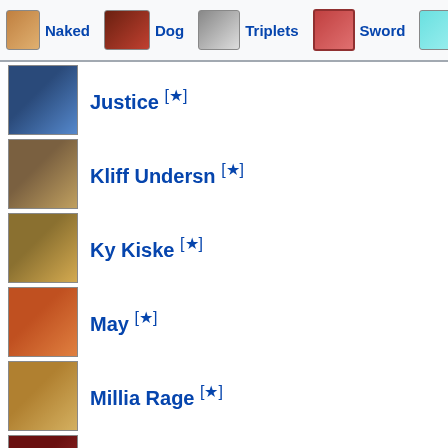Naked | Dog | Triplets | Sword | Ra...
Justice [★]
Kliff Undersn [★]
Ky Kiske [★]
May [★]
Millia Rage [★]
Order-Sol [★]
Potemkin [★]
Robo-Ky [★]
Slayer [★]
Sol Badguy [★]
Testament [★]
Venom [★]